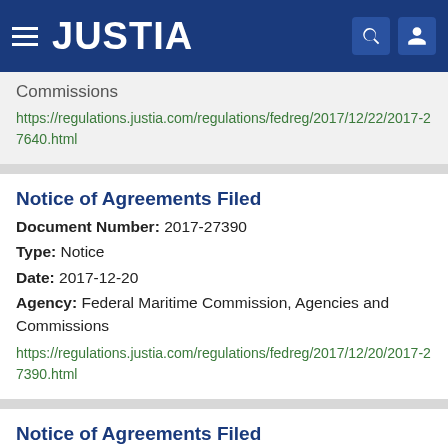JUSTIA
Commissions
https://regulations.justia.com/regulations/fedreg/2017/12/22/2017-27640.html
Notice of Agreements Filed
Document Number: 2017-27390
Type: Notice
Date: 2017-12-20
Agency: Federal Maritime Commission, Agencies and Commissions
https://regulations.justia.com/regulations/fedreg/2017/12/20/2017-27390.html
Notice of Agreements Filed
Document Number: 2017-27261
Type: Notice